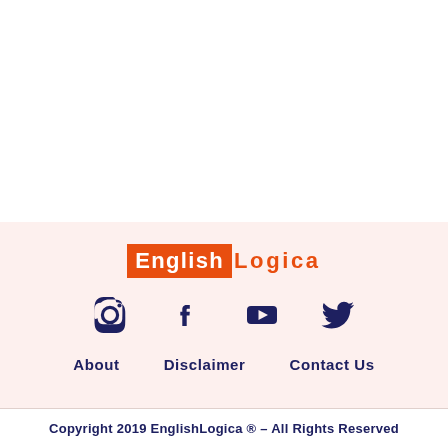[Figure (logo): EnglishLogica logo: 'English' in white text on orange rectangle, 'Logica' in orange text beside it]
[Figure (infographic): Four social media icons in dark navy: Instagram, Facebook, YouTube, Twitter]
About    Disclaimer    Contact Us
Copyright 2019 EnglishLogica ® – All Rights Reserved